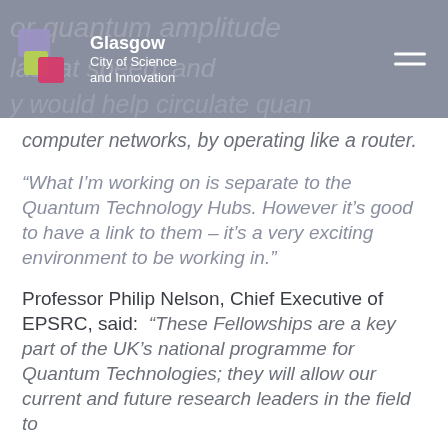[Figure (logo): Glasgow City of Science and Innovation logo with colorful overlapping squares/rectangles in purple, green, and pink]
computer networks, by operating like a router.
“What I’m working on is separate to the Quantum Technology Hubs. However it’s good to have a link to them – it’s a very exciting environment to be working in.”
Professor Philip Nelson, Chief Executive of EPSRC, said: “These Fellowships are a key part of the UK’s national programme for Quantum Technologies; they will allow our current and future research leaders in the field to